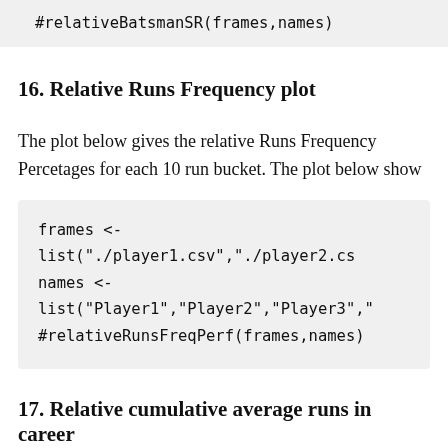#relativeBatsmanSR(frames,names)
16. Relative Runs Frequency plot
The plot below gives the relative Runs Frequency Percetages for each 10 run bucket. The plot below show
frames <- list("./player1.csv","./player2.cs
names <- list("Player1","Player2","Player3",
#relativeRunsFreqPerf(frames,names)
17. Relative cumulative average runs in career